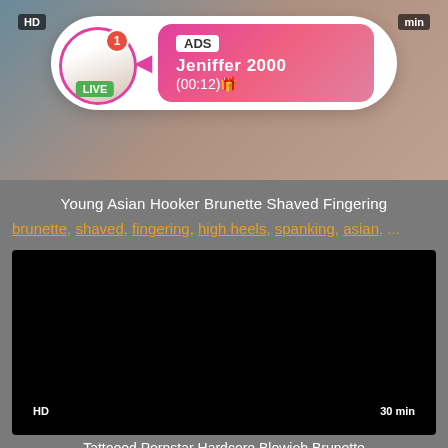[Figure (screenshot): Top video thumbnail showing a dark blurred background with HD badge and duration badge]
[Figure (infographic): Ad popup overlay showing profile with LIVE badge, ADS label, name Jeniffer 2000, and time (00:12)]
Young Asian Hooker Brunette Shaved Fingering
brunette, shaved, fingering, high heels, spanking, asian, ...
[Figure (screenshot): Bottom video thumbnail, black/dark, HD badge bottom-left, 30 min badge bottom-right]
Tattooed Pornstar Hardcore Blowjob Brunette
hardcore, blowjob, brunette, doggystyle, tattoo, busty, big...